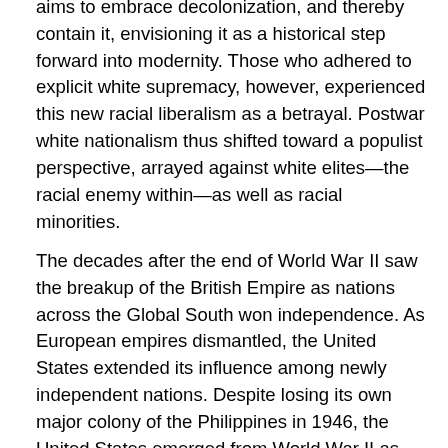aims to embrace decolonization, and thereby contain it, envisioning it as a historical step forward into modernity. Those who adhered to explicit white supremacy, however, experienced this new racial liberalism as a betrayal. Postwar white nationalism thus shifted toward a populist perspective, arrayed against white elites—the racial enemy within—as well as racial minorities.
The decades after the end of World War II saw the breakup of the British Empire as nations across the Global South won independence. As European empires dismantled, the United States extended its influence among newly independent nations. Despite losing its own major colony of the Philippines in 1946, the United States emerged from World War II as the preeminent world power, in many ways continuing the European imperial project of making the world safe for global capitalism. The